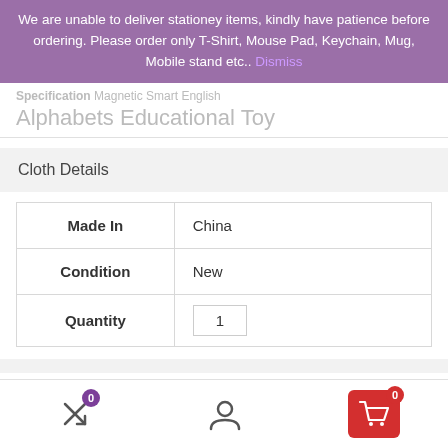We are unable to deliver stationey items, kindly have patience before ordering. Please order only T-Shirt, Mouse Pad, Keychain, Mug, Mobile stand etc.. Dismiss
Alphabets Educational Toy
Cloth Details
|  |  |
| --- | --- |
| Made In | China |
| Condition | New |
| Quantity | 1 |